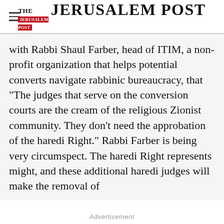THE JERUSALEM POST
with Rabbi Shaul Farber, head of ITIM, a non-profit organization that helps potential converts navigate rabbinic bureaucracy, that "The judges that serve on the conversion courts are the cream of the religious Zionist community. They don't need the approbation of the haredi Right." Rabbi Farber is being very circumspect. The haredi Right represents might, and these additional haredi judges will make the removal of
Advertisement